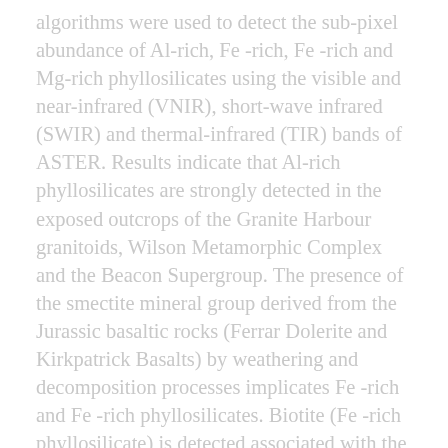algorithms were used to detect the sub-pixel abundance of Al-rich, Fe -rich, Fe -rich and Mg-rich phyllosilicates using the visible and near-infrared (VNIR), short-wave infrared (SWIR) and thermal-infrared (TIR) bands of ASTER. Results indicate that Al-rich phyllosilicates are strongly detected in the exposed outcrops of the Granite Harbour granitoids, Wilson Metamorphic Complex and the Beacon Supergroup. The presence of the smectite mineral group derived from the Jurassic basaltic rocks (Ferrar Dolerite and Kirkpatrick Basalts) by weathering and decomposition processes implicates Fe -rich and Fe -rich phyllosilicates. Biotite (Fe -rich phyllosilicate) is detected associated with the Granite Harbour granitoids, Wilson Metamorphic Complex and Melbourne Volcanics. Mg-rich phyllosilicates are mostly mapped in the scree, glacial drift, moraine and crevasse fields derived from weathering and decomposition of the Kirkpatrick Basalt and Ferrar